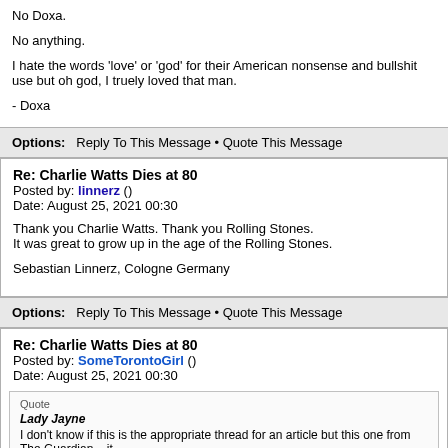No Doxa.

No anything.

I hate the words 'love' or 'god' for their American nonsense and bullshit use but oh god, I truely loved that man.

- Doxa
Options: Reply To This Message • Quote This Message
Re: Charlie Watts Dies at 80
Posted by: linnerz ()
Date: August 25, 2021 00:30
Thank you Charlie Watts. Thank you Rolling Stones.
It was great to grow up in the age of the Rolling Stones.

Sebastian Linnerz, Cologne Germany
Options: Reply To This Message • Quote This Message
Re: Charlie Watts Dies at 80
Posted by: SomeTorontoGirl ()
Date: August 25, 2021 00:30
Quote
Lady Jayne
I don't know if this is the appropriate thread for an article but this one from The Guardian... it...